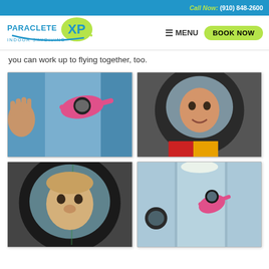Call Now: (910) 848-2600
[Figure (logo): Paraclete XP Indoor Skydiving logo]
MENU
BOOK NOW
you can work up to flying together, too.
[Figure (photo): Child in pink flight suit and helmet flying in wind tunnel with instructor hand visible]
[Figure (photo): Young child's face in large helmet close-up wearing red and yellow flight suit]
[Figure (photo): Close-up of person's face in large clear visor helmet]
[Figure (photo): Child in pink flight suit flying in wind tunnel viewed through glass]